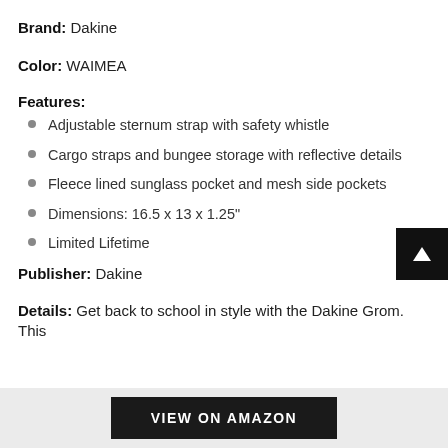Brand: Dakine
Color: WAIMEA
Features:
Adjustable sternum strap with safety whistle
Cargo straps and bungee storage with reflective details
Fleece lined sunglass pocket and mesh side pockets
Dimensions: 16.5 x 13 x 1.25"
Limited Lifetime
Publisher: Dakine
Details: Get back to school in style with the Dakine Grom. This
VIEW ON AMAZON